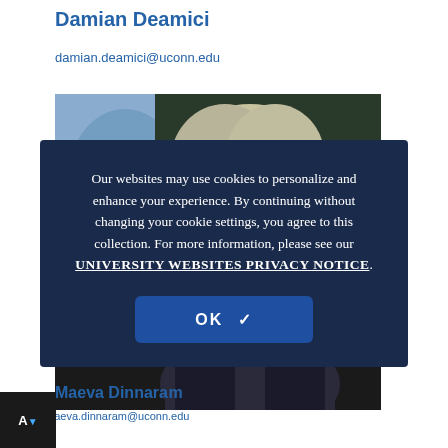Damian Deamici
damian.deamici@uconn.edu
[Figure (photo): Headshot photo of a person with light hair against a dark background]
Our websites may use cookies to personalize and enhance your experience. By continuing without changing your cookie settings, you agree to this collection. For more information, please see our UNIVERSITY WEBSITES PRIVACY NOTICE.
OK ✓
Maeva Dinnar
maeva.dinnaram@uconn.edu